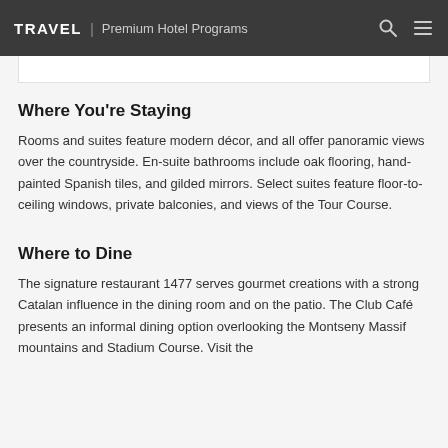TRAVEL | Premium Hotel Programs
Where You're Staying
Rooms and suites feature modern décor, and all offer panoramic views over the countryside. En-suite bathrooms include oak flooring, hand-painted Spanish tiles, and gilded mirrors. Select suites feature floor-to-ceiling windows, private balconies, and views of the Tour Course.
Where to Dine
The signature restaurant 1477 serves gourmet creations with a strong Catalan influence in the dining room and on the patio. The Club Café presents an informal dining option overlooking the Montseny Massif mountains and Stadium Course. Visit the